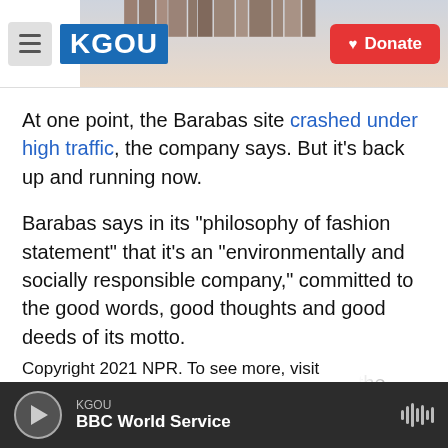KGOU | Donate
At one point, the Barabas site crashed under high traffic, the company says. But it's back up and running now.
Barabas says in its "philosophy of fashion statement" that it's an "environmentally and socially responsible company," committed to the good words, good thoughts and good deeds of its motto.
The company has not commented on the quality of El Chapo's words, thoughts or deeds.
Copyright 2021 NPR. To see more, visit
KGOU | BBC World Service